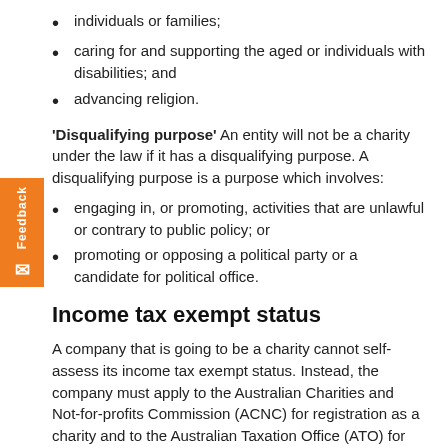individuals or families;
caring for and supporting the aged or individuals with disabilities; and
advancing religion.
'Disqualifying purpose' An entity will not be a charity under the law if it has a disqualifying purpose. A disqualifying purpose is a purpose which involves:
engaging in, or promoting, activities that are unlawful or contrary to public policy; or
promoting or opposing a political party or a candidate for political office.
Income tax exempt status
A company that is going to be a charity cannot self-assess its income tax exempt status. Instead, the company must apply to the Australian Charities and Not-for-profits Commission (ACNC) for registration as a charity and to the Australian Taxation Office (ATO) for endorsement as an income tax-exempt entity (the company can choose for the